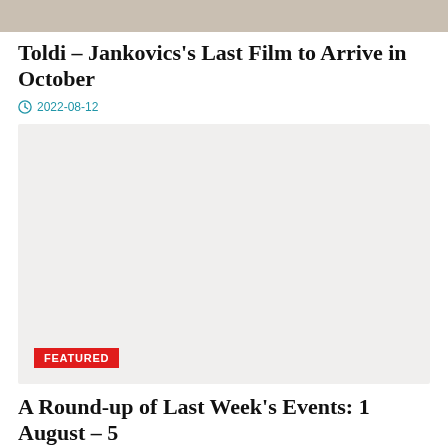[Figure (photo): Top portion of an article image showing a partial figure, cropped at page top]
Toldi – Jankovics's Last Film to Arrive in October
2022-08-12
[Figure (photo): Large light gray placeholder image with a FEATURED badge in the bottom left corner]
A Round-up of Last Week's Events: 1 August – 5 August 2022